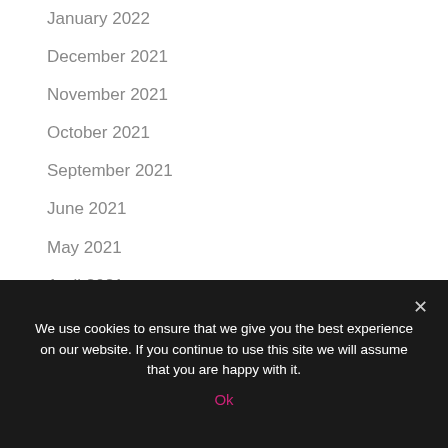January 2022
December 2021
November 2021
October 2021
September 2021
June 2021
May 2021
April 2021
March 2021
February 2021
January 2021
We use cookies to ensure that we give you the best experience on our website. If you continue to use this site we will assume that you are happy with it.
Ok